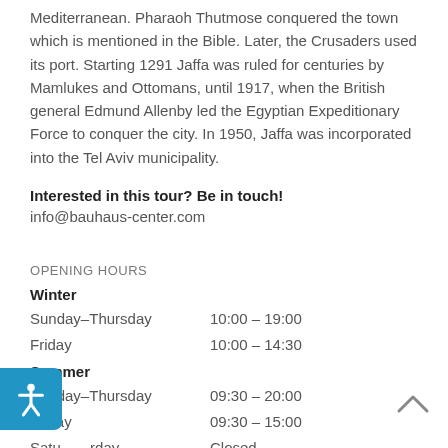Mediterranean. Pharaoh Thutmose conquered the town which is mentioned in the Bible. Later, the Crusaders used its port. Starting 1291 Jaffa was ruled for centuries by Mamlukes and Ottomans, until 1917, when the British general Edmund Allenby led the Egyptian Expeditionary Force to conquer the city. In 1950, Jaffa was incorporated into the Tel Aviv municipality.
Interested in this tour? Be in touch!
info@bauhaus-center.com
OPENING HOURS
Winter
Sunday–Thursday    10:00 – 19:00
Friday    10:00 – 14:30
Summer
Sunday–Thursday    09:30 – 20:00
Friday    09:30 – 15:00
Saturday    Closed